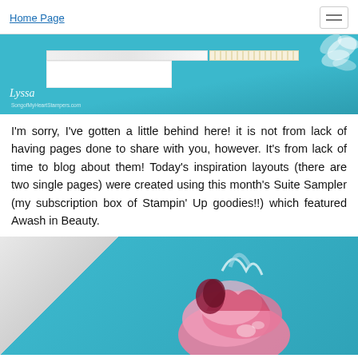Home Page
[Figure (photo): A teal/blue crafting card with white strips, patterned paper, and white floral embellishment in the corner, with a Lyssa watermark and SongofMyHeartStampers.com URL]
I'm sorry, I've gotten a little behind here! it is not from lack of having pages done to share with you, however. It's from lack of time to blog about them! Today's inspiration layouts (there are two single pages) were created using this month's Suite Sampler (my subscription box of Stampin' Up goodies!!) which featured Awash in Beauty.
[Figure (photo): Close-up photo of a crafting card featuring pink and red flowers on a teal blue background, with white brushstroke floral details]